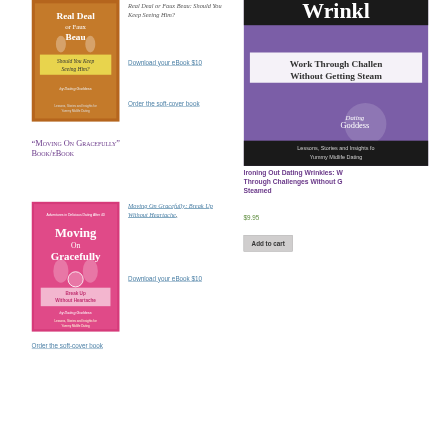[Figure (photo): Book cover: Real Deal or Faux Beau: Should You Keep Seeing Him? Brown/orange cover with author silhouettes.]
Real Deal or Faux Beau: Should You Keep Seeing Him?
Download your eBook $10
Order the soft-cover book
“Moving On Gracefully” Book/eBook
[Figure (photo): Book cover: Moving On Gracefully: Break Up Without Heartache. Pink cover.]
Moving On Gracefully: Break Up Without Heartache.
Download your eBook $10
Order the soft-cover book
[Figure (photo): Book cover: Ironing Out Dating Wrinkles - purple cover with Dating Goddess branding. Work Through Challenges Without Getting Steamed.]
Ironing Out Dating Wrinkles: Work Through Challenges Without Getting Steamed
$9.95
Add to cart